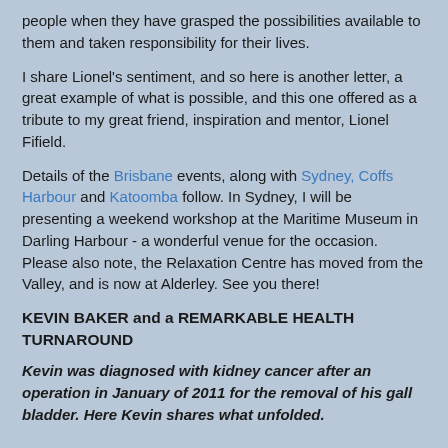people when they have grasped the possibilities available to them and taken responsibility for their lives.
I share Lionel's sentiment, and so here is another letter, a great example of what is possible, and this one offered as a tribute to my great friend, inspiration and mentor, Lionel Fifield.
Details of the Brisbane events, along with Sydney, Coffs Harbour and Katoomba follow. In Sydney, I will be presenting a weekend workshop at the Maritime Museum in Darling Harbour - a wonderful venue for the occasion. Please also note, the Relaxation Centre has moved from the Valley, and is now at Alderley. See you there!
KEVIN BAKER and a REMARKABLE HEALTH TURNAROUND
Kevin was diagnosed with kidney cancer after an operation in January of 2011 for the removal of his gall bladder. Here Kevin shares what unfolded.